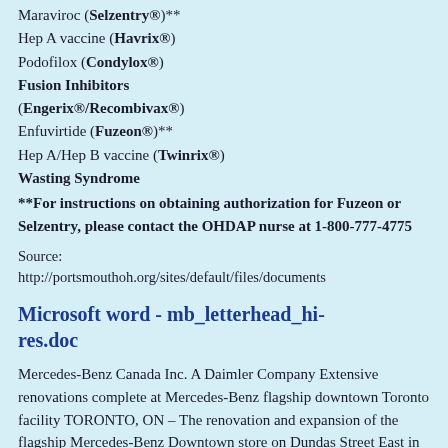Maraviroc (Selzentry®)**
Hep A vaccine (Havrix®)
Podofilox (Condylox®)
Fusion Inhibitors (Engerix®/Recombivax®)
Enfuvirtide (Fuzeon®)**
Hep A/Hep B vaccine (Twinrix®)
Wasting Syndrome
**For instructions on obtaining authorization for Fuzeon or Selzentry, please contact the OHDAP nurse at 1-800-777-4775
Source:
http://portsmouthoh.org/sites/default/files/documents
Microsoft word - mb_letterhead_hi-res.doc
Mercedes-Benz Canada Inc. A Daimler Company Extensive renovations complete at Mercedes-Benz flagship downtown Toronto facility TORONTO, ON – The renovation and expansion of the flagship Mercedes-Benz Downtown store on Dundas Street East in Toronto is complete. The landmark dealership is now the largest in the Mercedes-Benz Canada network and features a beautiful,